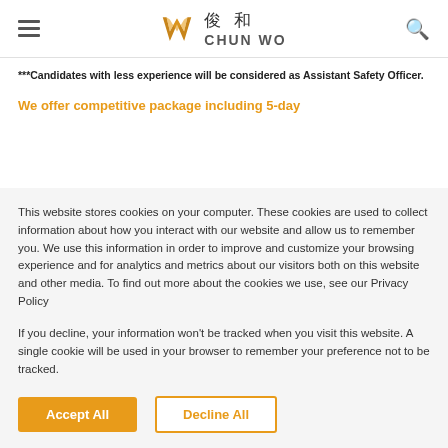Chun Wo 俊和 — navigation header with hamburger menu and search icon
***Candidates with less experience will be considered as Assistant Safety Officer.
We offer competitive package including 5-day
This website stores cookies on your computer. These cookies are used to collect information about how you interact with our website and allow us to remember you. We use this information in order to improve and customize your browsing experience and for analytics and metrics about our visitors both on this website and other media. To find out more about the cookies we use, see our Privacy Policy
If you decline, your information won't be tracked when you visit this website. A single cookie will be used in your browser to remember your preference not to be tracked.